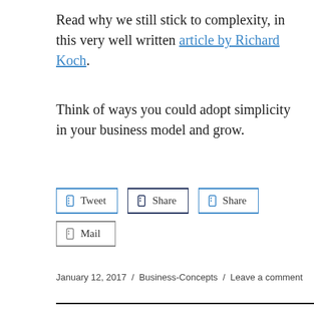Read why we still stick to complexity, in this very well written article by Richard Koch.
Think of ways you could adopt simplicity in your business model and grow.
[Figure (other): Social sharing buttons: Tweet, Share (LinkedIn), Share (LinkedIn), Mail]
January 12, 2017 / Business-Concepts / Leave a comment
[Figure (other): Horizontal black divider line]
Search ...